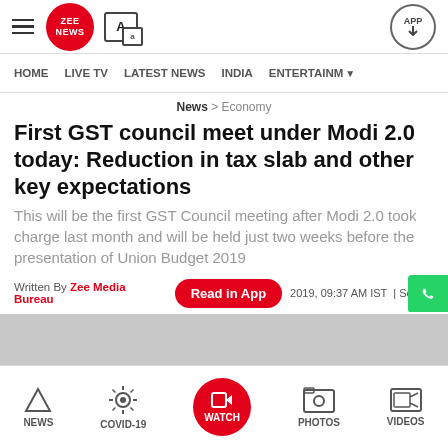Zee News — APP
HOME | LIVE TV | LATEST NEWS | INDIA | ENTERTAINM
News > Economy
First GST council meet under Modi 2.0 today: Reduction in tax slab and other key expectations
This will be the first GST Council meeting after Modi 2.0 took charge last month and will be held just two weeks before the presentation of Union Budget 2019
Written By Zee Media Bureau  2019, 09:37 AM IST | Source
NEWS | COVID-19 | WATCH | PHOTOS | VIDEOS